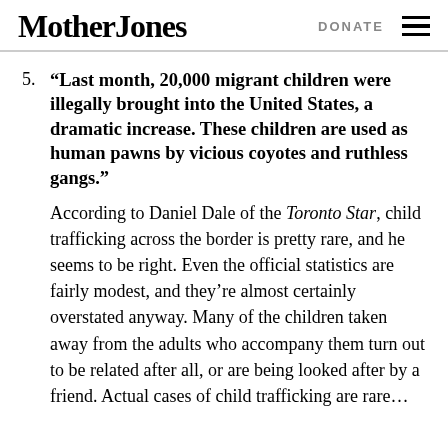Mother Jones    DONATE
5. “Last month, 20,000 migrant children were illegally brought into the United States, a dramatic increase. These children are used as human pawns by vicious coyotes and ruthless gangs.” According to Daniel Dale of the Toronto Star, child trafficking across the border is pretty rare, and he seems to be right. Even the official statistics are fairly modest, and they’re almost certainly overstated anyway. Many of the children taken away from the adults who accompany them turn out to be related after all, or are being looked after by a friend. Actual cases of child trafficking are rare…